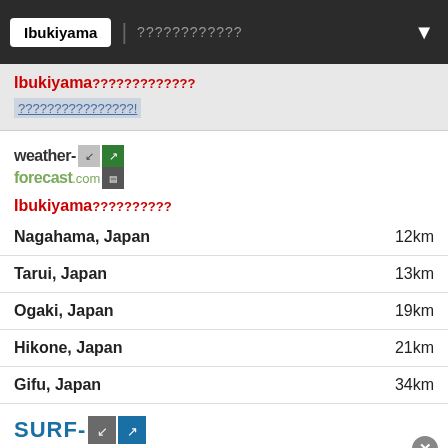Ibukiyama | ???????????? ▼
Ibukiyama?????????????
????????????????!
[Figure (logo): weather-forecast.com logo with icons]
Ibukiyama??????????
Nagahama, Japan  12km
Tarui, Japan  13km
Ogaki, Japan  19km
Hikone, Japan  21km
Gifu, Japan  34km
[Figure (logo): SURF- logo with icons]
[Figure (other): Advertisement area with close button]